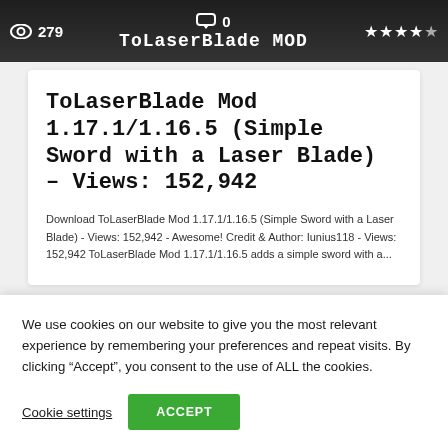[Figure (screenshot): Dark banner header showing eye icon with 279 views, chat bubble with 0 comments, ToLaserBlade MOD title text, and star rating icons]
ToLaserBlade Mod 1.17.1/1.16.5 (Simple Sword with a Laser Blade) – Views: 152,942
Download ToLaserBlade Mod 1.17.1/1.16.5 (Simple Sword with a Laser Blade) - Views: 152,942 - Awesome! Credit & Author: Iunius118 - Views: 152,942 ToLaserBlade Mod 1.17.1/1.16.5 adds a simple sword with a...
We use cookies on our website to give you the most relevant experience by remembering your preferences and repeat visits. By clicking "Accept", you consent to the use of ALL the cookies.
Cookie settings
ACCEPT